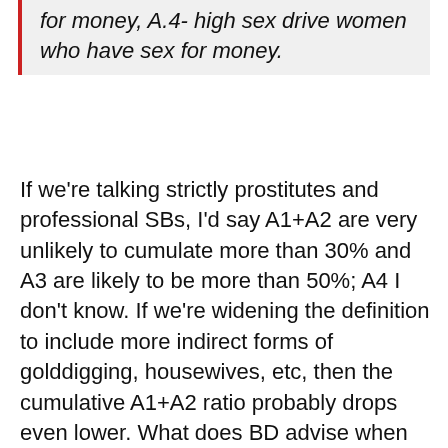for money, A.4- high sex drive women who have sex for money.
If we're talking strictly prostitutes and professional SBs, I'd say A1+A2 are very unlikely to cumulate more than 30% and A3 are likely to be more than 50%; A4 I don't know. If we're widening the definition to include more indirect forms of golddigging, housewives, etc, then the cumulative A1+A2 ratio probably drops even lower. What does BD advise when for creating a business or finding a job? Niche yourself as much as possible and find something you mostly enjoy. Now obviously that doesn't mean people in general follow that advice, but it's just not reasonable to assume there isn't a